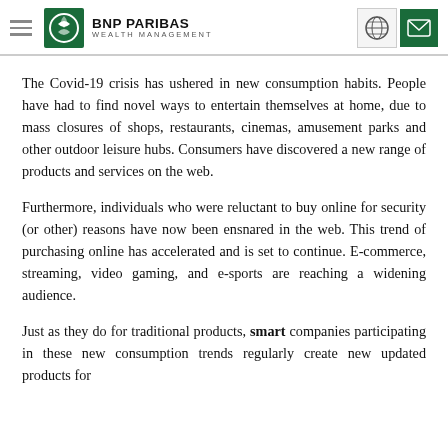BNP PARIBAS WEALTH MANAGEMENT
The Covid-19 crisis has ushered in new consumption habits. People have had to find novel ways to entertain themselves at home, due to mass closures of shops, restaurants, cinemas, amusement parks and other outdoor leisure hubs. Consumers have discovered a new range of products and services on the web.
Furthermore, individuals who were reluctant to buy online for security (or other) reasons have now been ensnared in the web. This trend of purchasing online has accelerated and is set to continue. E-commerce, streaming, video gaming, and e-sports are reaching a widening audience.
Just as they do for traditional products, smart companies participating in these new consumption trends regularly create new updated products for